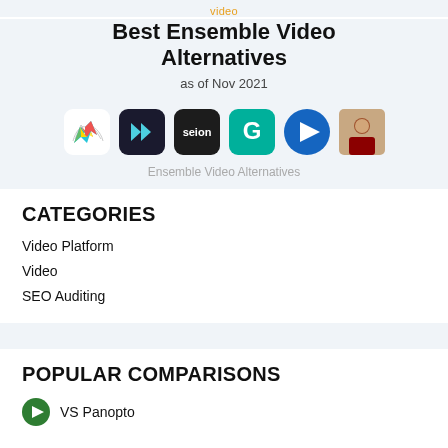video
Best Ensemble Video Alternatives
as of Nov 2021
[Figure (illustration): Row of six app icons representing Ensemble Video alternatives: a colorful wing/bookmark icon, a dark arrow icon, a dark 'seion' icon, a teal 'G' icon, a blue play button icon, and a person photo icon]
Ensemble Video Alternatives
CATEGORIES
Video Platform
Video
SEO Auditing
POPULAR COMPARISONS
VS Panopto